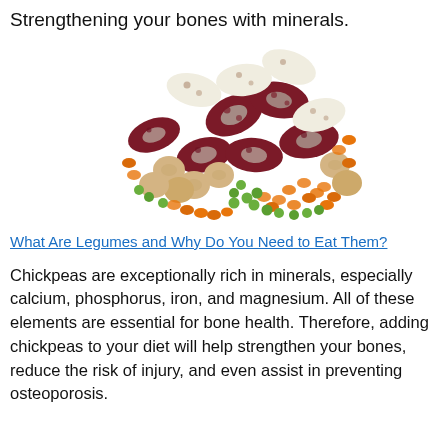Strengthening your bones with minerals.
[Figure (photo): A pile of mixed legumes including kidney beans, chickpeas, peas, lentils, and other beans on a white background.]
What Are Legumes and Why Do You Need to Eat Them?
Chickpeas are exceptionally rich in minerals, especially calcium, phosphorus, iron, and magnesium. All of these elements are essential for bone health. Therefore, adding chickpeas to your diet will help strengthen your bones, reduce the risk of injury, and even assist in preventing osteoporosis.